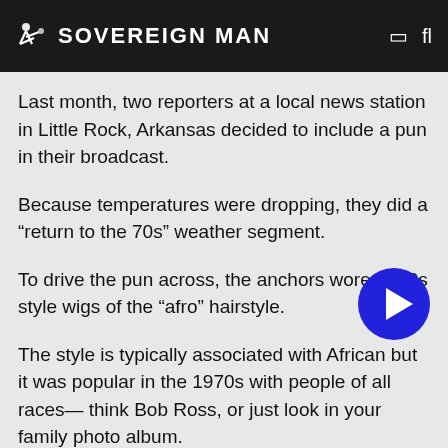SOVEREIGN MAN
Last month, two reporters at a local news station in Little Rock, Arkansas decided to include a pun in their broadcast.
Because temperatures were dropping, they did a “return to the 70s” weather segment.
To drive the pun across, the anchors wore 1970s style wigs of the “afro” hairstyle.
[Figure (other): Blue circular play button overlay]
The style is typically associated with African but it was popular in the 1970s with people of all races— think Bob Ross, or just look in your family photo album.